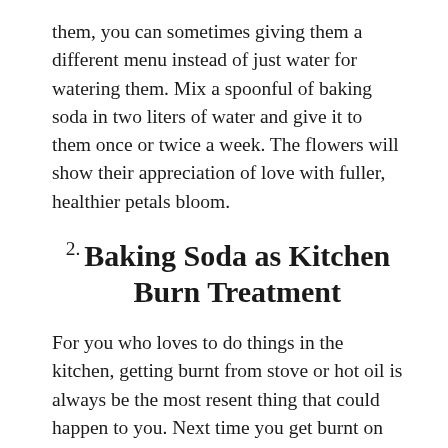them, you can sometimes giving them a different menu instead of just water for watering them. Mix a spoonful of baking soda in two liters of water and give it to them once or twice a week. The flowers will show their appreciation of love with fuller, healthier petals bloom.
2. Baking Soda as Kitchen Burn Treatment
For you who loves to do things in the kitchen, getting burnt from stove or hot oil is always be the most resent thing that could happen to you. Next time you get burnt on the kitchen, quickly get a container and fill it with water and a couple of ice. Pour some baking soda on it. Get yourself a clean fabric piece of simply a tissue paper to soak in the